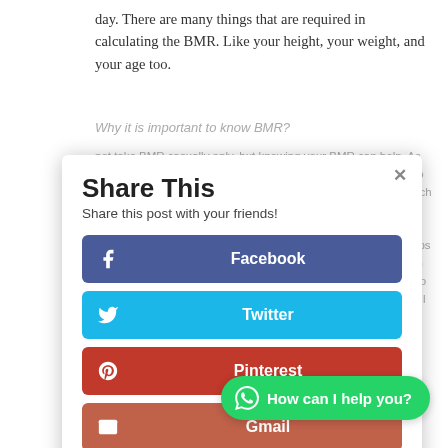day. There are many things that are required in calculating the BMR. Like your height, your weight, and your age too.
Why it is important to know BMR?
Share This
Share this post with your friends!
Facebook
Twitter
Pinterest
Gmail
LinkedIn
Like
How can I help you?